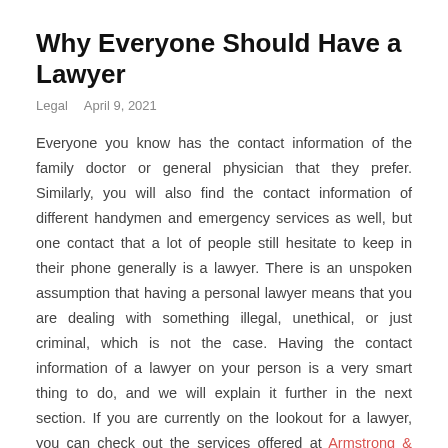Why Everyone Should Have a Lawyer
Legal    April 9, 2021
Everyone you know has the contact information of the family doctor or general physician that they prefer. Similarly, you will also find the contact information of different handymen and emergency services as well, but one contact that a lot of people still hesitate to keep in their phone generally is a lawyer. There is an unspoken assumption that having a personal lawyer means that you are dealing with something illegal, unethical, or just criminal, which is not the case. Having the contact information of a lawyer on your person is a very smart thing to do, and we will explain it further in the next section. If you are currently on the lookout for a lawyer, you can check out the services offered at Armstrong & Surin.